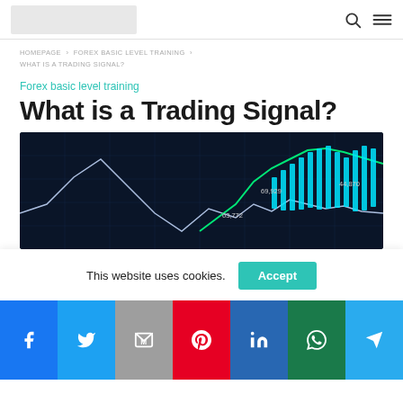[Logo] [Search icon] [Menu icon]
HOMEPAGE > FOREX BASIC LEVEL TRAINING > WHAT IS A TRADING SIGNAL?
Forex basic level training
What is a Trading Signal?
[Figure (photo): Stock market trading chart with candlestick patterns and glowing line graphs on dark blue background, showing values like 69,929 and 63,772 and 44,870]
This website uses cookies.
Accept
[Figure (infographic): Social media share buttons bar: Facebook (blue), Twitter (light blue), Gmail/Mail (gray), Pinterest (red), LinkedIn (dark blue), WhatsApp (green), Telegram (blue)]